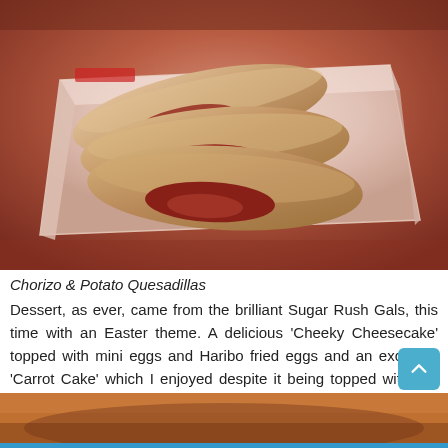[Figure (photo): Photo of Chorizo & Potato Quesadillas in a white cardboard tray on a wooden table, showing folded tortillas with filling]
Chorizo & Potato Quesadillas
Dessert, as ever, came from the brilliant Sugar Rush Gals, this time with an Easter theme. A delicious 'Cheeky Cheesecake' topped with mini eggs and Haribo fried eggs and an excellent 'Carrot Cake' which I enjoyed despite it being topped with evil coconut in disguise. The highlight for me though was the amazing Creme Egg ice cream.
[Figure (photo): Partial photo of a dessert item at the bottom of the page, cropped]